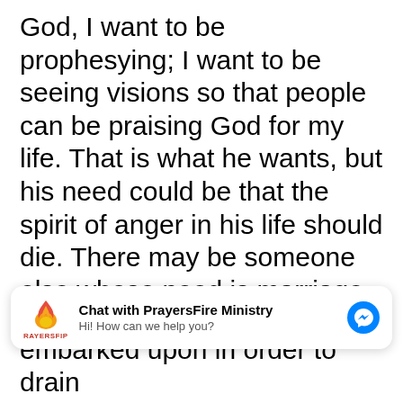God, I want to be prophesying; I want to be seeing visions so that people can be praising God for my life. That is what he wants, but his need could be that the spirit of anger in his life should die. There may be someone else whose need is marriage. But that may not be God's will for that person. It may be that God
[Figure (screenshot): Chat popup with PrayersFire Ministry logo (flame icon), bold title 'Chat with PrayersFire Ministry', subtitle 'Hi! How can we help you?', and a blue Facebook Messenger button on the right.]
embarked upon in order to drain